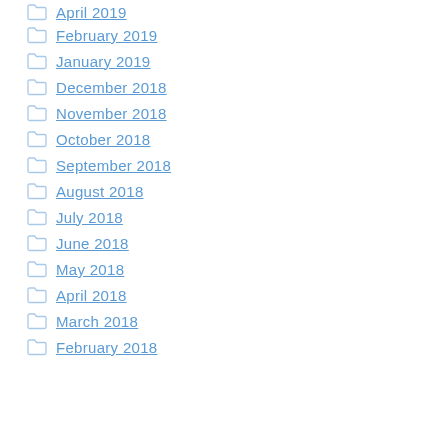April 2019
February 2019
January 2019
December 2018
November 2018
October 2018
September 2018
August 2018
July 2018
June 2018
May 2018
April 2018
March 2018
February 2018